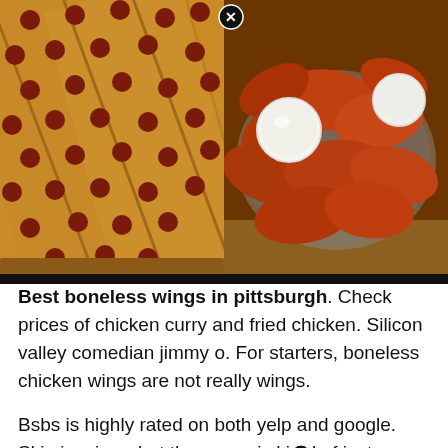[Figure (photo): Split image: left side shows a pepperoni pizza cut into slices viewed from above; right side shows a plate of buffalo chicken wings with white dipping sauce cups. A close/X button appears at the top center between the two images.]
Best boneless wings in pittsburgh. Check prices of chicken curry and fried chicken. Silicon valley comedian jimmy o. For starters, boneless chicken wings are not really wings.
Bsbs is highly rated on both yelp and google. Skin is crispy, but the sauce is kind of just poured on top